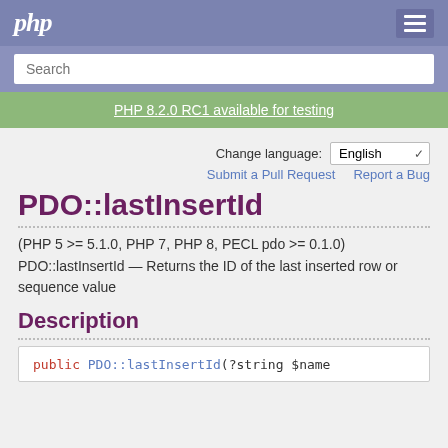php
Search
PHP 8.2.0 RC1 available for testing
Change language: English
Submit a Pull Request    Report a Bug
PDO::lastInsertId
(PHP 5 >= 5.1.0, PHP 7, PHP 8, PECL pdo >= 0.1.0)
PDO::lastInsertId — Returns the ID of the last inserted row or sequence value
Description
public PDO::lastInsertId(?string $name